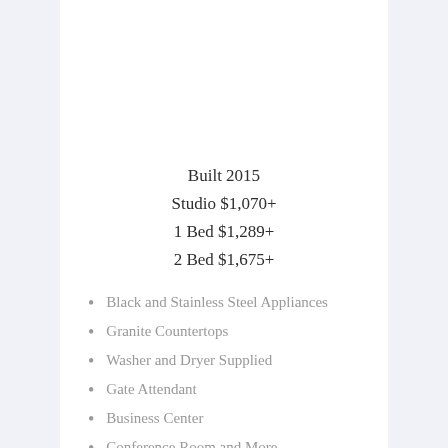Built 2015
Studio $1,070+
1 Bed $1,289+
2 Bed $1,675+
Black and Stainless Steel Appliances
Granite Countertops
Washer and Dryer Supplied
Gate Attendant
Business Center
Conference Room and More